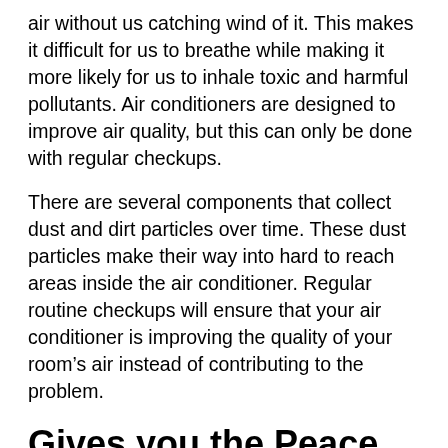air without us catching wind of it. This makes it difficult for us to breathe while making it more likely for us to inhale toxic and harmful pollutants. Air conditioners are designed to improve air quality, but this can only be done with regular checkups.
There are several components that collect dust and dirt particles over time. These dust particles make their way into hard to reach areas inside the air conditioner. Regular routine checkups will ensure that your air conditioner is improving the quality of your room's air instead of contributing to the problem.
Gives you the Peace of Mind
The last thing you need is to be blindsided by a